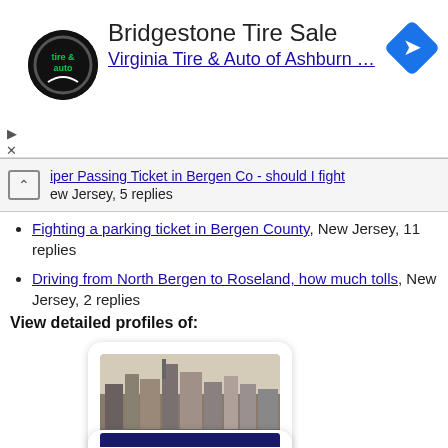[Figure (screenshot): Advertisement banner for Bridgestone Tire Sale - Virginia Tire & Auto of Ashburn with logo and navigation icon]
iper Passing Ticket in Bergen Co - should I fight, New Jersey, 5 replies
Fighting a parking ticket in Bergen County, New Jersey, 11 replies
Driving from North Bergen to Roseland, how much tolls, New Jersey, 2 replies
View detailed profiles of:
[Figure (photo): Cityscape photo of Newark, New Jersey skyline with tall buildings]
Newark, New Jersey
[Figure (photo): Partial second city photo card at bottom]